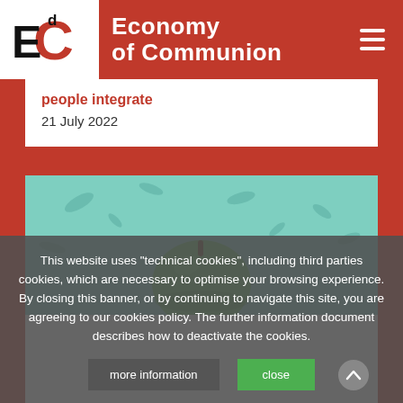[Figure (logo): Economy of Communion website header with EdC logo (red C with black E and d superscript) and site title 'Economy of Communion' in white on red background]
people integrate
21 July 2022
[Figure (photo): Green apple on teal/mint colored background with falling leaves]
This website uses “technical cookies”, including third parties cookies, which are necessary to optimise your browsing experience. By closing this banner, or by continuing to navigate this site, you are agreeing to our cookies policy. The further information document describes how to deactivate the cookies.